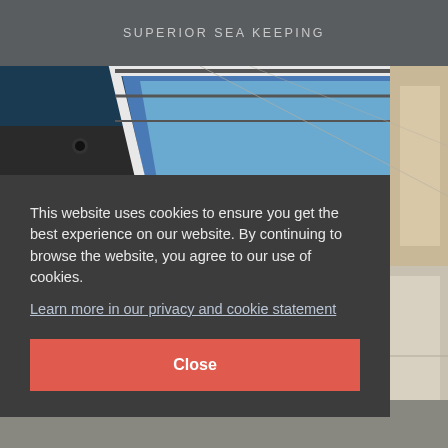SUPERIOR SEA KEEPING
[Figure (photo): Interior photo of a yacht skylight/hatch viewed from below, showing a rectangular blue skylight with white framing against cream/beige ceiling panels]
This website uses cookies to ensure you get the best experience on our website. By continuing to browse the website, you agree to our use of cookies.
Learn more in our privacy and cookie statement
Close